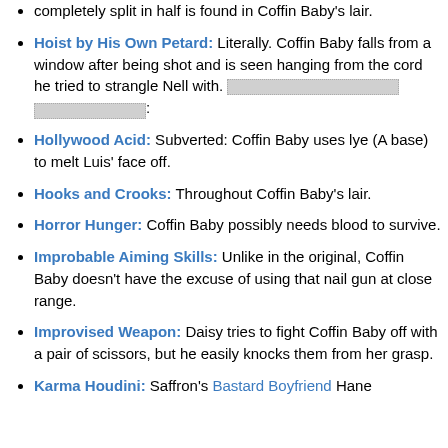Hoist by His Own Petard: Literally. Coffin Baby falls from a window after being shot and is seen hanging from the cord he tried to strangle Nell with. [redacted]
Hollywood Acid: Subverted: Coffin Baby uses lye (A base) to melt Luis' face off.
Hooks and Crooks: Throughout Coffin Baby's lair.
Horror Hunger: Coffin Baby possibly needs blood to survive.
Improbable Aiming Skills: Unlike in the original, Coffin Baby doesn't have the excuse of using that nail gun at close range.
Improvised Weapon: Daisy tries to fight Coffin Baby off with a pair of scissors, but he easily knocks them from her grasp.
Karma Houdini: Saffron's Bastard Boyfriend Hane...